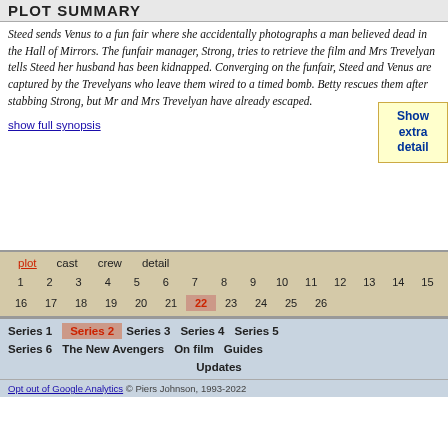Plot Summary
Steed sends Venus to a fun fair where she accidentally photographs a man believed dead in the Hall of Mirrors. The funfair manager, Strong, tries to retrieve the film and Mrs Trevelyan tells Steed her husband has been kidnapped. Converging on the funfair, Steed and Venus are captured by the Trevelyans who leave them wired to a timed bomb. Betty rescues them after stabbing Strong, but Mr and Mrs Trevelyan have already escaped.
show full synopsis
Show extra detail
plot  cast  crew  detail
1 2 3 4 5 6 7 8 9 10 11 12 13 14 15
16 17 18 19 20 21 22 23 24 25 26
Series 1  Series 2  Series 3  Series 4  Series 5
Series 6  The New Avengers  On film  Guides
Updates
Opt out of Google Analytics © Piers Johnson, 1993-2022